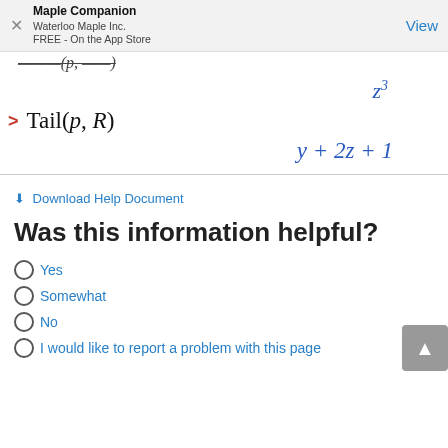Maple Companion
Waterloo Maple Inc.
FREE - On the App Store
View
⬇ Download Help Document
Was this information helpful?
Yes
Somewhat
No
I would like to report a problem with this page